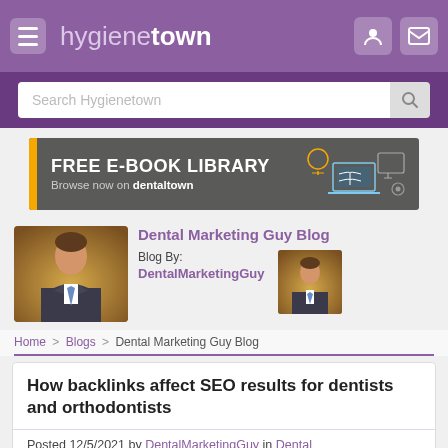hygienetown
[Figure (screenshot): Search bar with placeholder text 'Search Hygienetown']
[Figure (infographic): Advertisement banner: FREE E-BOOK LIBRARY - Browse now on dentaltown]
Dental Marketing Guy Blog
Blog By: DentalMarketingGuy
Home > Blogs > Dental Marketing Guy Blog
How backlinks affect SEO results for dentists and orthodontists
Posted 12/5/2021 by DentalMarketingGuy in Dental